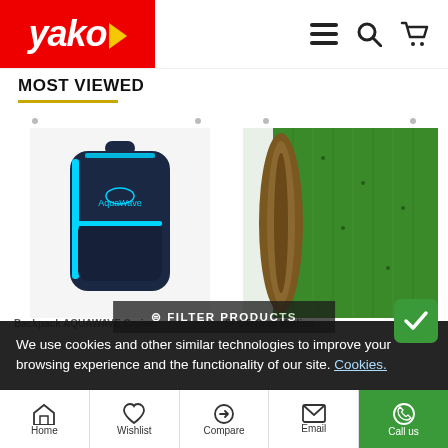[Figure (screenshot): Yako store header with red logo background. Logo shows 'yako' with yellow arrow, icons for menu, search, and cart on the right.]
MOST VIEWED
[Figure (photo): Two product images side by side: left is AquaWave backpack in dark navy with cyan accents; right is a rolled green sports/artificial turf mat.]
Backpack AQUAWAVE Cruiser
SPORTline Medina
We use cookies and other similar technologies to improve your browsing experience and the functionality of our site. Cookies.
⊜ FILTER PRODUCTS
Home  Wishlist  Compare  Email  Call us